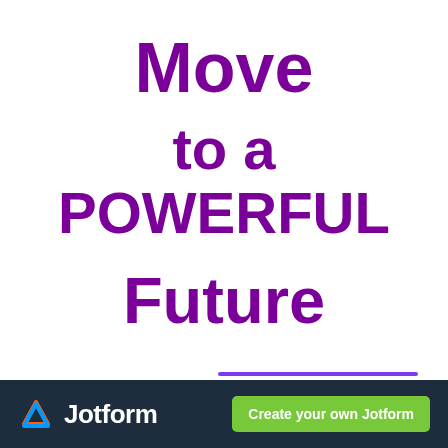Move to a POWERFUL Future
[Figure (other): Horizontal purple divider line in the lower right area of the main content section]
Jotform — Create your own Jotform